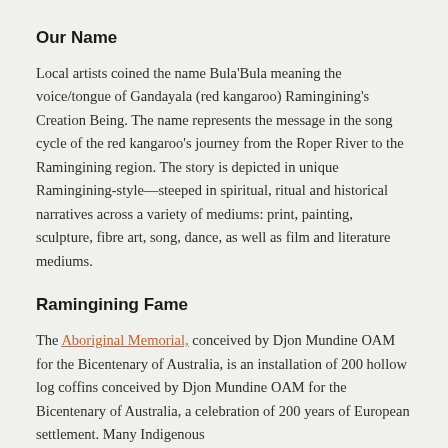Our Name
Local artists coined the name Bula'Bula meaning the voice/tongue of Gandayala (red kangaroo) Ramingining's Creation Being. The name represents the message in the song cycle of the red kangaroo's journey from the Roper River to the Ramingining region. The story is depicted in unique Ramingining-style—steeped in spiritual, ritual and historical narratives across a variety of mediums: print, painting, sculpture, fibre art, song, dance, as well as film and literature mediums.
Ramingining Fame
The Aboriginal Memorial, conceived by Djon Mundine OAM for the Bicentenary of Australia, is an installation of 200 hollow log coffins conceived by Djon Mundine OAM for the Bicentenary of Australia, a celebration of 200 years of European settlement. Many Indigenous